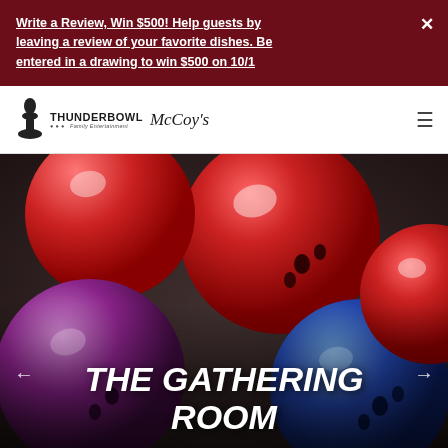Write a Review, Win $500! Help guests by leaving a review of your favorite dishes. Be entered in a drawing to win $500 on 10/1
[Figure (logo): Thunderbowl Family Entertainment and McCoy's logo]
[Figure (photo): Close-up photo of colorful bowling balls (red, purple, blue) with overlay text THE GATHERING ROOM]
THE GATHERING ROOM